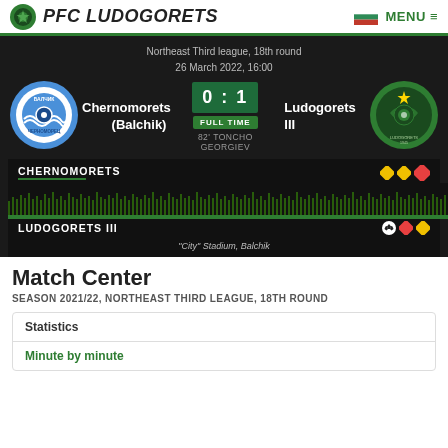PFC LUDOGORETS
Northeast Third league, 18th round
26 March 2022, 16:00
Chernomorets (Balchik) 0 : 1 Ludogorets III
FULL TIME
82' TONCHO GEORGIEV
CHERNOMORETS
LUDOGORETS III
"City" Stadium, Balchik
Match Center
SEASON 2021/22, NORTHEAST THIRD LEAGUE, 18TH ROUND
Statistics
Minute by minute